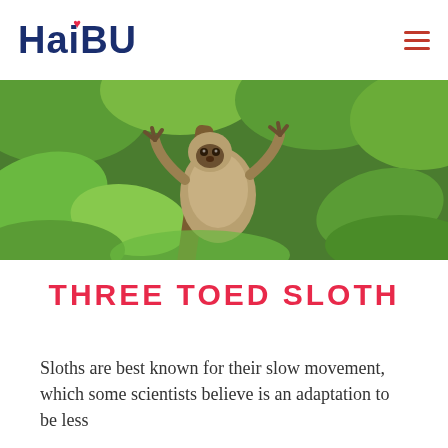HAIBU
[Figure (photo): A three-toed sloth hanging from a branch surrounded by green tropical leaves]
THREE TOED SLOTH
Sloths are best known for their slow movement, which some scientists believe is an adaptation to be less